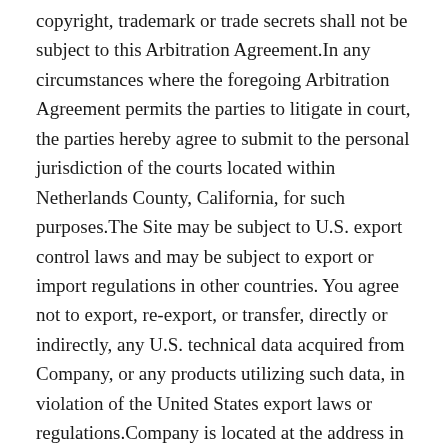copyright, trademark or trade secrets shall not be subject to this Arbitration Agreement.In any circumstances where the foregoing Arbitration Agreement permits the parties to litigate in court, the parties hereby agree to submit to the personal jurisdiction of the courts located within Netherlands County, California, for such purposes.The Site may be subject to U.S. export control laws and may be subject to export or import regulations in other countries. You agree not to export, re-export, or transfer, directly or indirectly, any U.S. technical data acquired from Company, or any products utilizing such data, in violation of the United States export laws or regulations.Company is located at the address in Section 10.8. If you are a California resident, you may report complaints to the Complaint Assistance Unit of the Division of Consumer Product of the California Department of Consumer Affairs by contacting them in writing at 400 R Street, Sacramento, CA 95814, or by